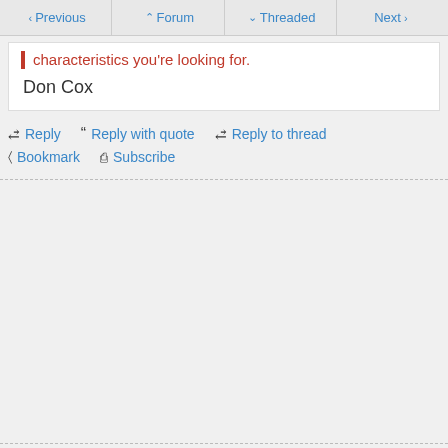Previous | Forum | Threaded | Next
characteristics you're looking for.
Don Cox
Reply
Reply with quote
Reply to thread
Bookmark
Subscribe